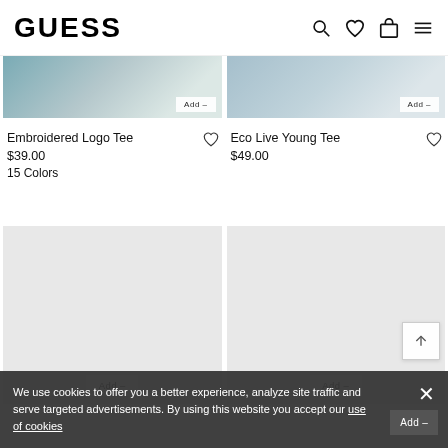GUESS
[Figure (screenshot): Partial product image of Embroidered Logo Tee, teal/blue color]
[Figure (screenshot): Partial product image of Eco Live Young Tee, light blue color]
Embroidered Logo Tee
$39.00
15 Colors
Eco Live Young Tee
$49.00
[Figure (photo): Loading product image placeholder (grey) for bottom-left product card]
[Figure (photo): Loading product image placeholder (grey) for bottom-right product card]
We use cookies to offer you a better experience, analyze site traffic and serve targeted advertisements. By using this website you accept our use of cookies